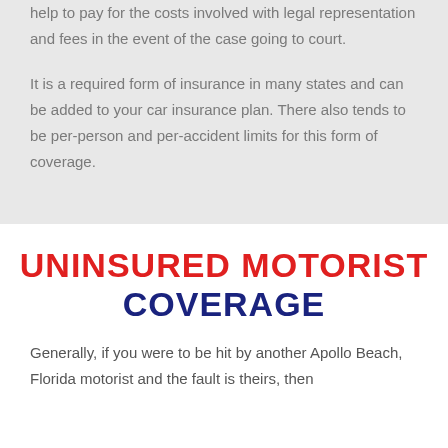help to pay for the costs involved with legal representation and fees in the event of the case going to court.
It is a required form of insurance in many states and can be added to your car insurance plan. There also tends to be per-person and per-accident limits for this form of coverage.
UNINSURED MOTORIST COVERAGE
Generally, if you were to be hit by another Apollo Beach, Florida motorist and the fault is theirs, then